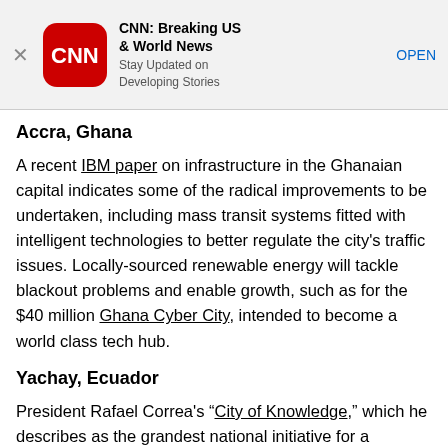[Figure (screenshot): CNN app advertisement banner with close button, CNN red rounded square logo, app title 'CNN: Breaking US & World News', subtitle 'Stay Updated on Developing Stories', and an OPEN button]
Accra, Ghana
A recent IBM paper on infrastructure in the Ghanaian capital indicates some of the radical improvements to be undertaken, including mass transit systems fitted with intelligent technologies to better regulate the city's traffic issues. Locally-sourced renewable energy will tackle blackout problems and enable growth, such as for the $40 million Ghana Cyber City, intended to become a world class tech hub.
Yachay, Ecuador
President Rafael Correa's “City of Knowledge,” which he describes as the grandest national initiative for a